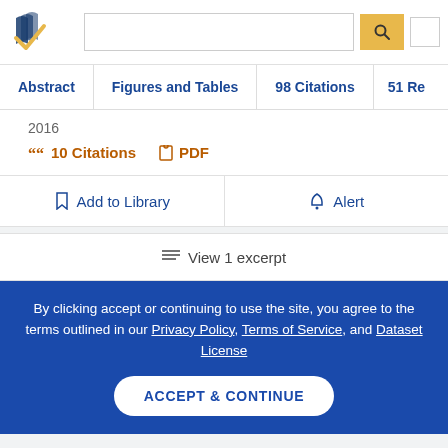[Figure (screenshot): Semantic Scholar logo with navy book pages and gold checkmark]
Abstract | Figures and Tables | 98 Citations | 51 Re
2016
10 Citations   PDF
Add to Library   Alert
View 1 excerpt
By clicking accept or continuing to use the site, you agree to the terms outlined in our Privacy Policy, Terms of Service, and Dataset License
ACCEPT & CONTINUE